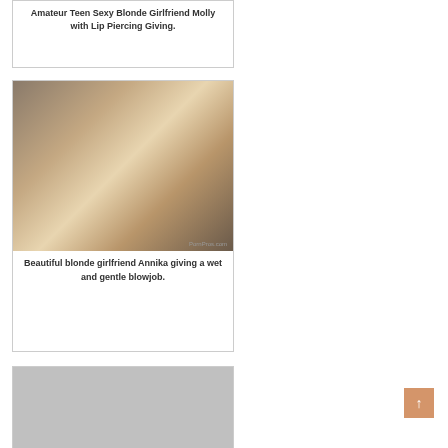Amateur Teen Sexy Blonde Girlfriend Molly with Lip Piercing Giving.
[Figure (photo): Blonde woman in bedroom setting]
Beautiful blonde girlfriend Annika giving a wet and gentle blowjob.
[Figure (photo): Partially visible card at bottom]